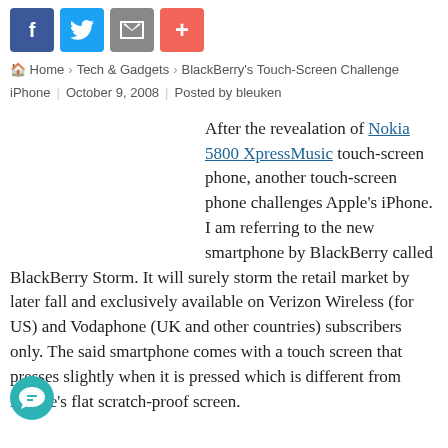[Figure (other): Social sharing buttons: Facebook (blue), Twitter (light blue), Email (gray), Plus/share (red-orange)]
Home › Tech & Gadgets › BlackBerry's Touch-Screen Challenge iPhone | October 9, 2008 | Posted by bleuken
After the revealation of Nokia 5800 XpressMusic touch-screen phone, another touch-screen phone challenges Apple's iPhone. I am referring to the new smartphone by BlackBerry called BlackBerry Storm. It will surely storm the retail market by later fall and exclusively available on Verizon Wireless (for US) and Vodaphone (UK and other countries) subscribers only. The said smartphone comes with a touch screen that presses slightly when it is pressed which is different from iPhone's flat scratch-proof screen.